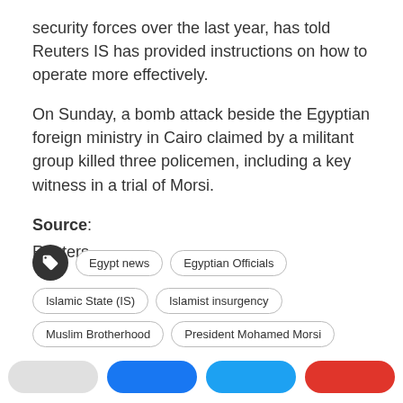security forces over the last year, has told Reuters IS has provided instructions on how to operate more effectively.
On Sunday, a bomb attack beside the Egyptian foreign ministry in Cairo claimed by a militant group killed three policemen, including a key witness in a trial of Morsi.
Source: Reuters
Egypt news
Egyptian Officials
Islamic State (IS)
Islamist insurgency
Muslim Brotherhood
President Mohamed Morsi